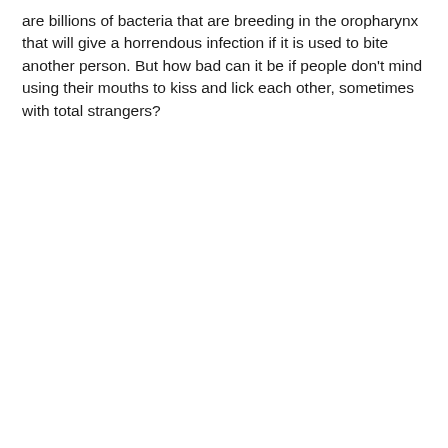are billions of bacteria that are breeding in the oropharynx that will give a horrendous infection if it is used to bite another person. But how bad can it be if people don't mind using their mouths to kiss and lick each other, sometimes with total strangers?